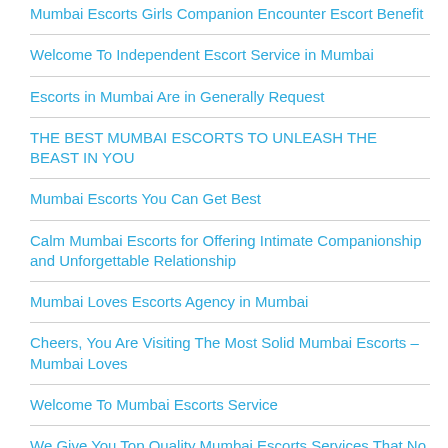Mumbai Escorts Girls Companion Encounter Escort Benefit
Welcome To Independent Escort Service in Mumbai
Escorts in Mumbai Are in Generally Request
THE BEST MUMBAI ESCORTS TO UNLEASH THE BEAST IN YOU
Mumbai Escorts You Can Get Best
Calm Mumbai Escorts for Offering Intimate Companionship and Unforgettable Relationship
Mumbai Loves Escorts Agency in Mumbai
Cheers, You Are Visiting The Most Solid Mumbai Escorts – Mumbai Loves
Welcome To Mumbai Escorts Service
We Give You Top Quality Mumbai Escorts Services That No Other Can Coordinate
Self Motivated Mumbai Escorts For Erotic Companionship